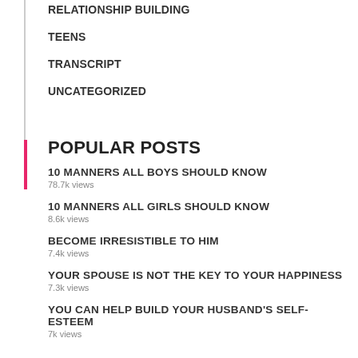RELATIONSHIP BUILDING
TEENS
TRANSCRIPT
UNCATEGORIZED
POPULAR POSTS
10 MANNERS ALL BOYS SHOULD KNOW
78.7k views
10 MANNERS ALL GIRLS SHOULD KNOW
8.6k views
BECOME IRRESISTIBLE TO HIM
7.4k views
YOUR SPOUSE IS NOT THE KEY TO YOUR HAPPINESS
7.3k views
YOU CAN HELP BUILD YOUR HUSBAND'S SELF-ESTEEM
7k views